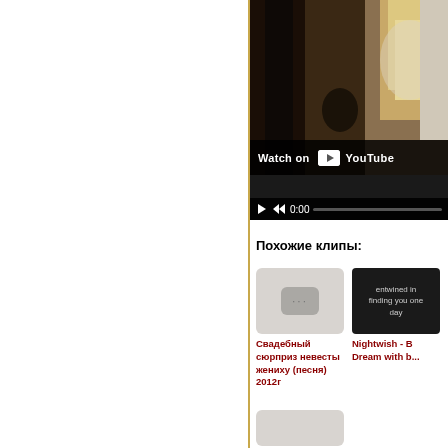[Figure (screenshot): Left white panel of a webpage, empty white space with a gold/amber vertical border on the right side]
[Figure (screenshot): YouTube video player showing a blurred/dark scene with a person with long blonde hair; video controls bar at bottom showing 'Watch on YouTube' text, play button, rewind button, and time 0:00]
Похожие клипы:
[Figure (screenshot): Thumbnail placeholder with three dots icon on gray background for 'Свадебный сюрприз невесты жениху (песня) 2012г']
Свадебный сюрприз невесты жениху (песня) 2012г
[Figure (screenshot): Dark thumbnail showing text 'entwined in finding you one day' for Nightwish - Dream with b...]
Nightwish - Dream with b...